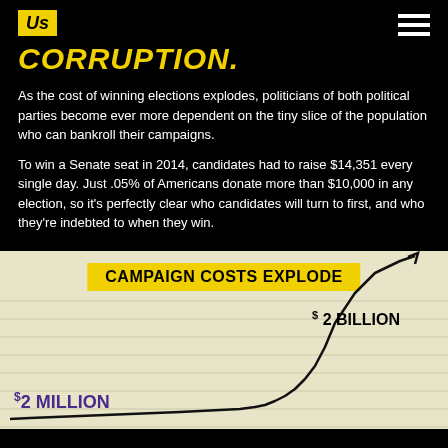[Figure (logo): Us logo — yellow square with 'Us' in black italic text]
CORRUPTION.
As the cost of winning elections explodes, politicians of both political parties become ever more dependent on the tiny slice of the population who can bankroll their campaigns.
To win a Senate seat in 2014, candidates had to raise $14,351 every single day. Just .05% of Americans donate more than $10,000 in any election, so it's perfectly clear who candidates will turn to first, and who they're indebted to when they win.
[Figure (line-chart): Line chart showing campaign costs rising from $2 Million to $2 Billion over time, with a sharp upward curve at the right end.]